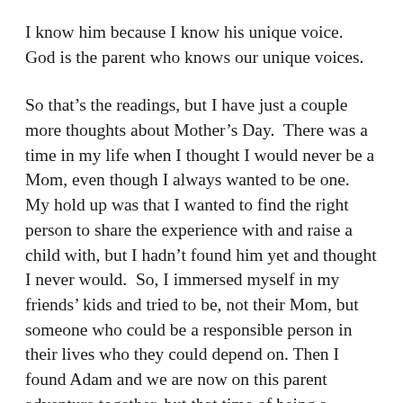I know him because I know his unique voice.  God is the parent who knows our unique voices.
So that's the readings, but I have just a couple more thoughts about Mother's Day.  There was a time in my life when I thought I would never be a Mom, even though I always wanted to be one.  My hold up was that I wanted to find the right person to share the experience with and raise a child with, but I hadn't found him yet and thought I never would.  So, I immersed myself in my friends' kids and tried to be, not their Mom, but someone who could be a responsible person in their lives who they could depend on. Then I found Adam and we are now on this parent adventure together, but that time of being a surrogate parent to those cool kids was something I always treasure (and thank my friends for allowing me to be a part of that, I think I got the better